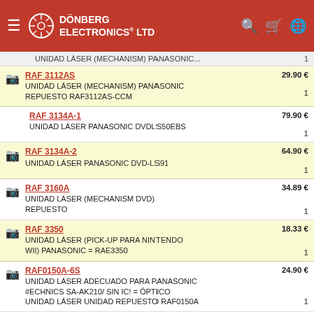DÖNBERG ELECTRONICS® LTD
UNIDAD LÁSER (MECHANISM) PANASONIC ... 1
RAF 3112AS — 29.90 € — UNIDAD LÁSER (MECHANISM) PANASONIC REPUESTO RAF3112AS-CCM — 1
RAF 3134A-1 — 79.90 € — UNIDAD LÁSER PANASONIC DVDLS50EBS — 1
RAF 3134A-2 — 64.90 € — UNIDAD LÁSER PANASONIC DVD-LS91 — 1
RAF 3160A — 34.89 € — UNIDAD LÁSER (MECHANISM DVD) REPUESTO — 1
RAF 3350 — 18.33 € — UNIDAD LÁSER (PICK-UP PARA NINTENDO WII) PANASONIC = RAE3350 — 1
RAF0150A-6S — 24.90 € — UNIDAD LÁSER ADECUADO PARA PANASONIC #ECHNICS SA-AK210/ SIN IC! = ÓPTICO UNIDAD LÁSER UNIDAD REPUESTO RAF0150A — 1